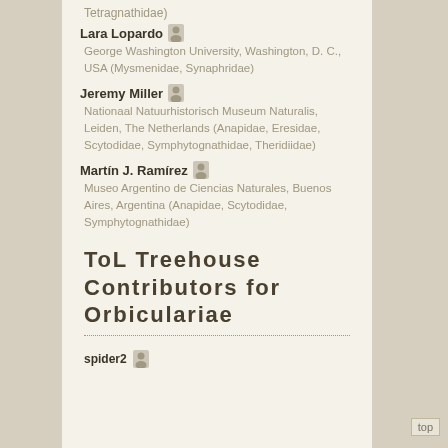Tetragnathidae)
Lara Lopardo — George Washington University, Washington, D. C., USA (Mysmenidae, Synaphridae)
Jeremy Miller — Nationaal Natuurhistorisch Museum Naturalis, Leiden, The Netherlands (Anapidae, Eresidae, Scytodidae, Symphytognathidae, Theridiidae)
Martín J. Ramírez — Museo Argentino de Ciencias Naturales, Buenos Aires, Argentina (Anapidae, Scytodidae, Symphytognathidae)
ToL Treehouse Contributors for Orbiculariae
spider2